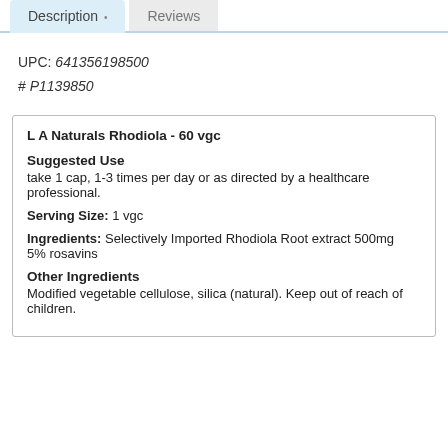Description • | Reviews
UPC: 641356198500
# P1139850
L A Naturals Rhodiola - 60 vgc
Suggested Use
take 1 cap, 1-3 times per day or as directed by a healthcare professional.
Serving Size: 1 vgc
Ingredients: Selectively Imported Rhodiola Root extract 500mg
5% rosavins
Other Ingredients
Modified vegetable cellulose, silica (natural). Keep out of reach of children.